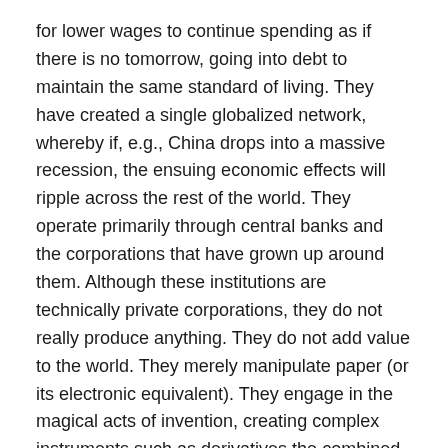for lower wages to continue spending as if there is no tomorrow, going into debt to maintain the same standard of living. They have created a single globalized network, whereby if, e.g., China drops into a massive recession, the ensuing economic effects will ripple across the rest of the world. They operate primarily through central banks and the corporations that have grown up around them. Although these institutions are technically private corporations, they do not really produce anything. They do not add value to the world. They merely manipulate paper (or its electronic equivalent). They engage in the magical acts of invention, creating complex instruments such as derivatives the combined paper wealth of which exceeds the real wealth on the planet.
10. It became conventional quite some time ago to blame 'capitalism' for this situation, and thereby the experience of